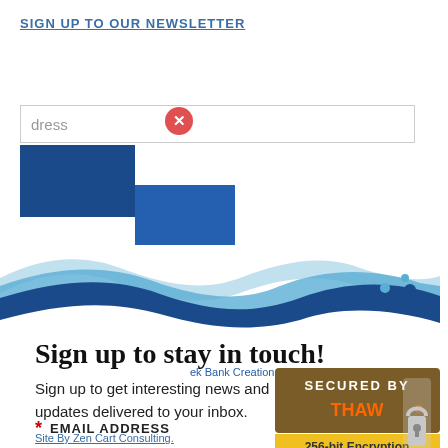SIGN UP TO OUR NEWSLETTER
[Figure (screenshot): Newsletter sign-up form with email input field showing placeholder text 'dress' (partially obscured), blue rectangular block overlay on left side]
[Figure (illustration): Decorative wave logo with light blue and dark blue wavy lines and water droplet graphic on the right]
Sign up to stay in touch!
Sign up to get interesting news and updates delivered to your inbox.
* EMAIL ADDRESS
FIRST NAME
[Figure (logo): Secured by 256-bit Encryption badge with padlock icon]
ek Bank Creations. All right reserved.
Site By Zen Cart Consulting.